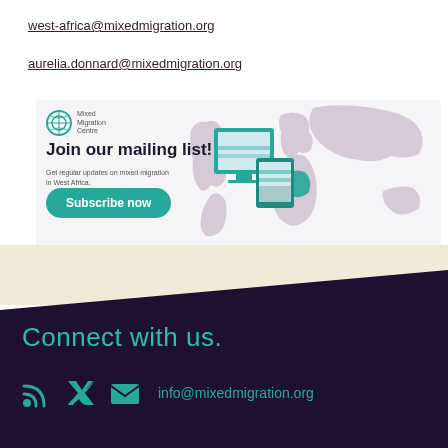west-africa@mixedmigration.org
aurelia.donnard@mixedmigration.org
[Figure (infographic): Mixed Migration Centre mailing list subscription banner with world map background, logo, 'Join our mailing list!' heading, 'Subscribe now' button, and device illustration]
Connect with us.
info@mixedmigration.org